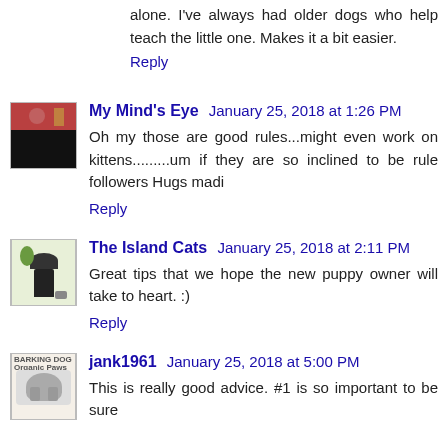alone. I've always had older dogs who help teach the little one. Makes it a bit easier.
Reply
My Mind's Eye  January 25, 2018 at 1:26 PM
Oh my those are good rules...might even work on kittens.........um if they are so inclined to be rule followers Hugs madi
Reply
The Island Cats  January 25, 2018 at 2:11 PM
Great tips that we hope the new puppy owner will take to heart. :)
Reply
jank1961  January 25, 2018 at 5:00 PM
This is really good advice. #1 is so important to be sure